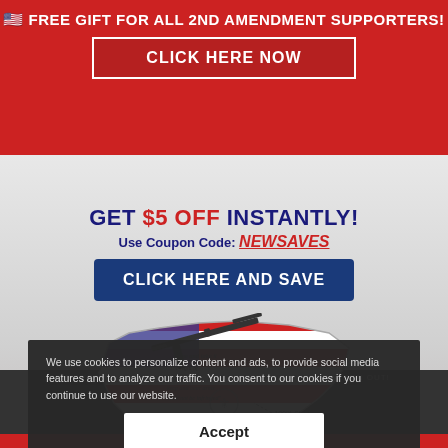🇺🇸 FREE GIFT FOR ALL 2ND AMENDMENT SUPPORTERS!
CLICK HERE NOW
[Figure (illustration): Advertisement image showing a USA map outline with patriotic red/white/blue stripes and an AR-style rifle overlay. Text on map reads 'come and take it' and 'The right of the people to keep and bear arms shall not be infringed'. Label reads '100% Steel'.]
GET $5 OFF INSTANTLY!
Use Coupon Code: NEWSAVES
CLICK HERE AND SAVE
GET YOUR HOFFMAN RICHTER TAC PEN BEFORE SUPPLIES RUN OUT!
[Figure (logo): Hoffman Richter brand logo with wolf/animal emblem]
TAC PEN
We use cookies to personalize content and ads, to provide social media features and to analyze our traffic. You consent to our cookies if you continue to use our website.
Accept